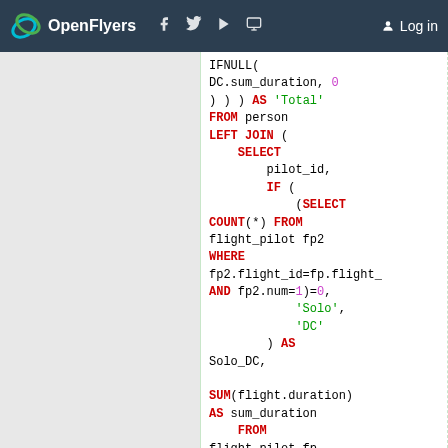OpenFlyers | Log in
[Figure (screenshot): SQL code snippet showing a query with IFNULL, FROM person, LEFT JOIN with subquery using SELECT, IF, COUNT, WHERE, AND clauses, SUM(flight.duration) AS sum_duration, FROM flight_pilot fp, LEFT JOIN flight ON fp.flight_id=flight.id, WHERE clause at bottom]